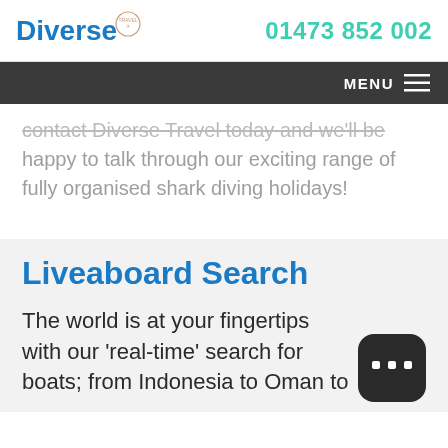Diverse Travel — 01473 852 002
MENU
contact Diverse Travel today and we'll be happy to talk through our exciting range of fully organised shark diving holidays!
Liveaboard Search
The world is at your fingertips with our 'real-time' search for boats; from Indonesia to Oman to